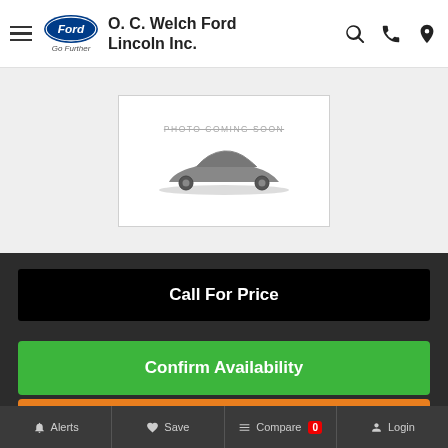O. C. Welch Ford Lincoln Inc.
[Figure (photo): Car photo placeholder with 'PHOTO COMING SOON' text and silhouette of a car]
Call For Price
Confirm Availability
Call Now
Alerts  Save  Compare 0  Login